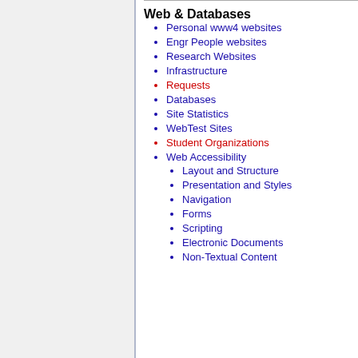Web & Databases
Personal www4 websites
Engr People websites
Research Websites
Infrastructure
Requests
Databases
Site Statistics
WebTest Sites
Student Organizations
Web Accessibility
Layout and Structure
Presentation and Styles
Navigation
Forms
Scripting
Electronic Documents
Non-Textual Content